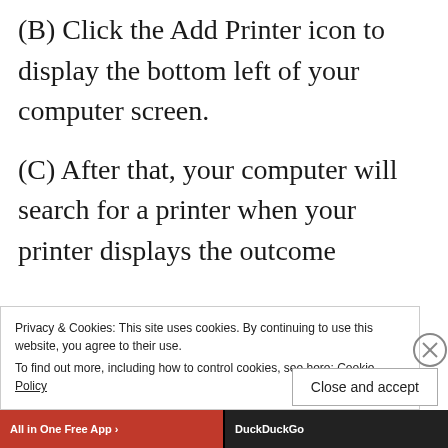(B) Click the Add Printer icon to display the bottom left of your computer screen.
(C) After that, your computer will search for a printer when your printer displays the outcome
Privacy & Cookies: This site uses cookies. By continuing to use this website, you agree to their use.
To find out more, including how to control cookies, see here: Cookie Policy
Close and accept